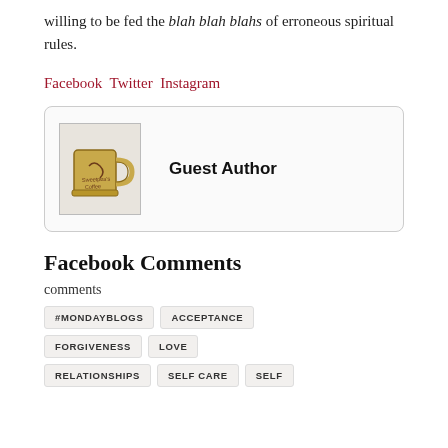willing to be fed the blah blah blahs of erroneous spiritual rules.
Facebook Twitter Instagram
[Figure (illustration): Author box with a coffee mug illustration and the name Guest Author]
Facebook Comments
comments
#MONDAYBLOGS
ACCEPTANCE
FORGIVENESS
LOVE
RELATIONSHIPS
SELF CARE
SELF